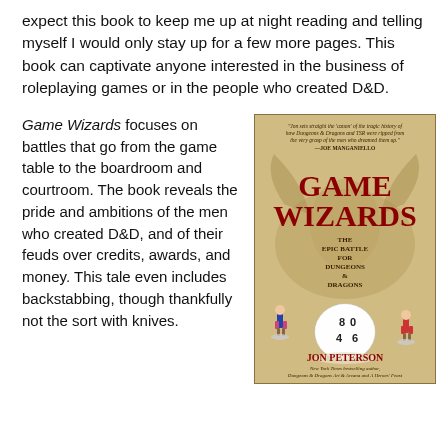expect this book to keep me up at night reading and telling myself I would only stay up for a few more pages. This book can captivate anyone interested in the business of roleplaying games or in the people who created D&D.
Game Wizards focuses on battles that go from the game table to the boardroom and courtroom. The book reveals the pride and ambitions of the men who created D&D, and of their feuds over credits, awards, and money. This tale even includes backstabbing, though thankfully not the sort with knives.
[Figure (illustration): Book cover of 'Game Wizards: The Epic Battle for Dungeons & Dragons' by Jon Peterson. Shows two miniature figurines flanking a large die, with a dragon shadow in the background. Subtitle: The Epic Battle for Dungeons & Dragons. Author noted as New York Times bestselling author.]